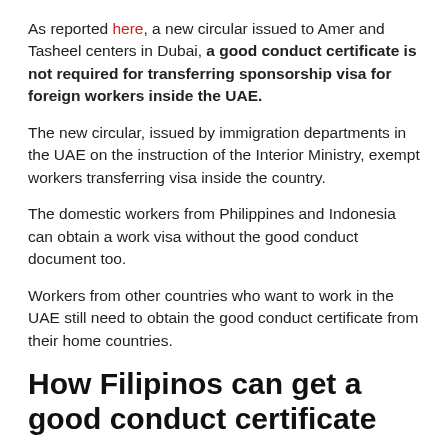As reported here, a new circular issued to Amer and Tasheel centers in Dubai, a good conduct certificate is not required for transferring sponsorship visa for foreign workers inside the UAE.
The new circular, issued by immigration departments in the UAE on the instruction of the Interior Ministry, exempt workers transferring visa inside the country.
The domestic workers from Philippines and Indonesia can obtain a work visa without the good conduct document too.
Workers from other countries who want to work in the UAE still need to obtain the good conduct certificate from their home countries.
How Filipinos can get a good conduct certificate
The good conduct certificate's counterpart in the Philippines is the “No Criminal Record” issued by the National Bureau of